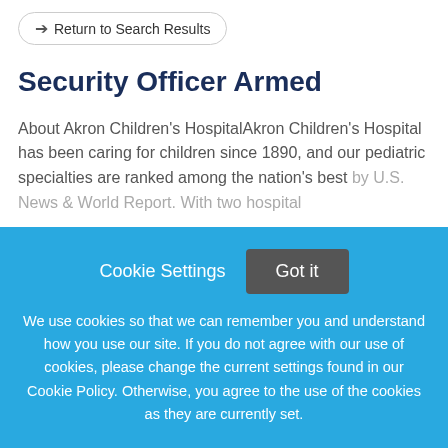← Return to Search Results
Security Officer Armed
About Akron Children's HospitalAkron Children's Hospital has been caring for children since 1890, and our pediatric specialties are ranked among the nation's best by U.S. News & World Report. With two hospital
This job listing is no longer active.
Cookie Settings   Got it
We use cookies so that we can remember you and understand how you use our site. If you do not agree with our use of cookies, please change the current settings found in our Cookie Policy. Otherwise, you agree to the use of the cookies as they are currently set.